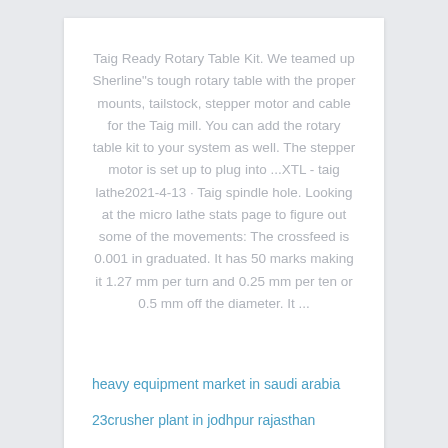Taig Ready Rotary Table Kit. We teamed up Sherline"s tough rotary table with the proper mounts, tailstock, stepper motor and cable for the Taig mill. You can add the rotary table kit to your system as well. The stepper motor is set up to plug into ...XTL - taig lathe2021-4-13 · Taig spindle hole. Looking at the micro lathe stats page to figure out some of the movements: The crossfeed is 0.001 in graduated. It has 50 marks making it 1.27 mm per turn and 0.25 mm per ten or 0.5 mm off the diameter. It ...
heavy equipment market in saudi arabia
23crusher plant in jodhpur rajasthan